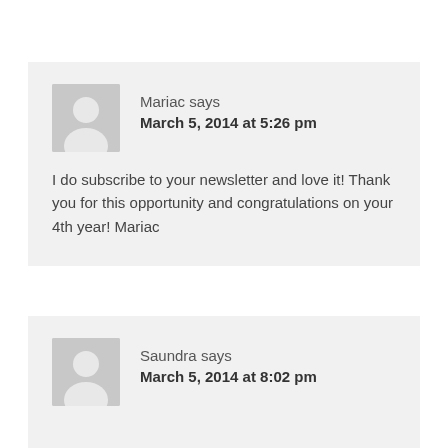Mariac says
March 5, 2014 at 5:26 pm

I do subscribe to your newsletter and love it! Thank you for this opportunity and congratulations on your 4th year! Mariac
Saundra says
March 5, 2014 at 8:02 pm